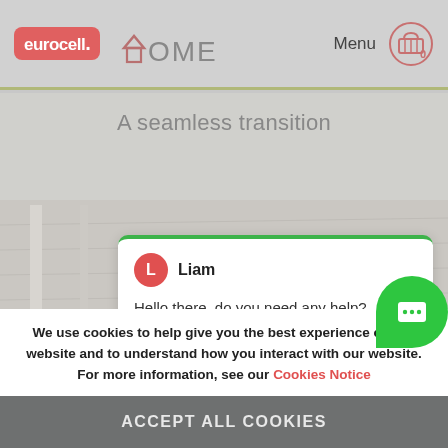[Figure (screenshot): Eurocell Home website header with logo, HOME text, Menu link, and cart icon with 0 items]
A seamless transition
[Figure (photo): Background product image showing white/beige architectural or building material]
Liam
Hello there, do you need any help?
We use cookies to help give you the best experience on our website and to understand how you interact with our website. For more information, see our Cookies Notice
ACCEPT ALL COOKIES